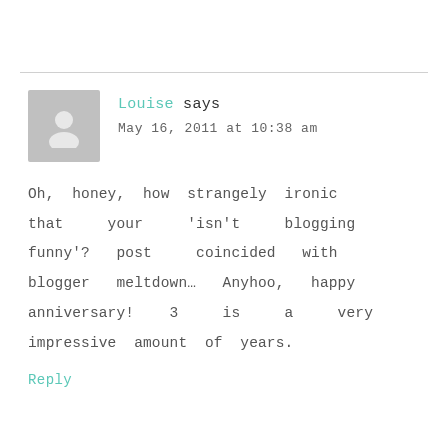Louise says
May 16, 2011 at 10:38 am
Oh, honey, how strangely ironic that your 'isn't blogging funny'? post coincided with blogger meltdown… Anyhoo, happy anniversary! 3 is a very impressive amount of years.
Reply